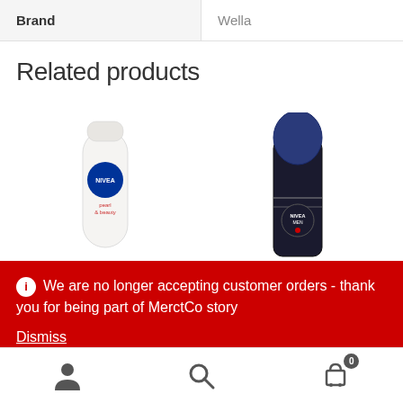| Brand | Wella |
| --- | --- |
| Brand | Wella |
Related products
[Figure (photo): Two NIVEA deodorant products: NIVEA Pearl & Beauty roll-on (left) and NIVEA Men roll-on (right)]
We are no longer accepting customer orders - thank you for being part of MerctCo story
Dismiss